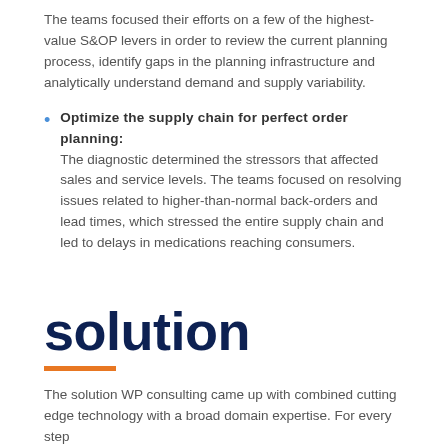The teams focused their efforts on a few of the highest-value S&OP levers in order to review the current planning process, identify gaps in the planning infrastructure and analytically understand demand and supply variability.
Optimize the supply chain for perfect order planning: The diagnostic determined the stressors that affected sales and service levels. The teams focused on resolving issues related to higher-than-normal back-orders and lead times, which stressed the entire supply chain and led to delays in medications reaching consumers.
solution
The solution WP consulting came up with combined cutting edge technology with a broad domain expertise. For every step